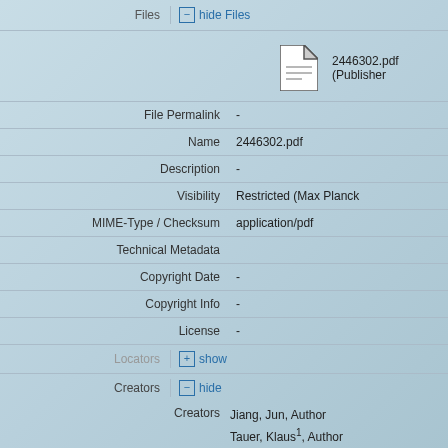Files | hide Files
[Figure (other): PDF file icon]
2446302.pdf (Publisher
| Field | Value |
| --- | --- |
| File Permalink | - |
| Name | 2446302.pdf |
| Description | - |
| Visibility | Restricted (Max Planck |
| MIME-Type / Checksum | application/pdf |
| Technical Metadata |  |
| Copyright Date | - |
| Copyright Info | - |
| License | - |
Locators | show
Creators | hide
Creators: Jiang, Jun, Author; Tauer, Klaus¹, Author; Qiu, Yun-Hao, Author; Zhong, Ya-Xu, Author; Gao, Min-Rui, Author; Antonietti, Markus², Aut